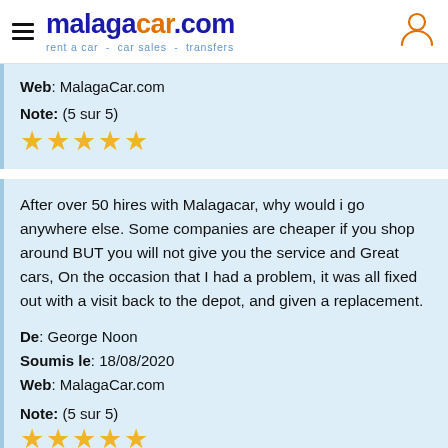malagacar.com — rent a car · car sales · transfers
Web: MalagaCar.com
Note: (5 sur 5)
★★★★★
After over 50 hires with Malagacar, why would i go anywhere else. Some companies are cheaper if you shop around BUT you will not give you the service and Great cars, On the occasion that I had a problem, it was all fixed out with a visit back to the depot, and given a replacement.

De: George Noon
Soumis le: 18/08/2020
Web: MalagaCar.com

Note: (5 sur 5)
★★★★★